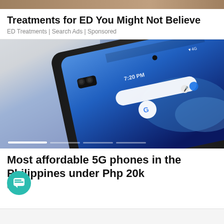[Figure (photo): Top strip showing partial image at top of page]
Treatments for ED You Might Not Believe
ED Treatments | Search Ads | Sponsored
[Figure (photo): Close-up photo of a smartphone showing the front camera, rear cameras, and Android home screen with Google search bar and status bar showing 7:20 PM]
Most affordable 5G phones in the Philippines under Php 20k
ch